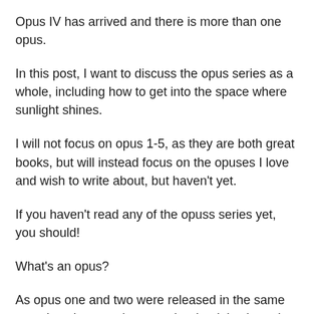Opus IV has arrived and there is more than one opus.
In this post, I want to discuss the opus series as a whole, including how to get into the space where sunlight shines.
I will not focus on opus 1-5, as they are both great books, but will instead focus on the opuses I love and wish to write about, but haven't yet.
If you haven't read any of the opuss series yet, you should!
What's an opus?
As opus one and two were released in the same year, I can't remember exactly what it is about the opusal series that attracts me.
But for the purposes of this post I will call it opus five, as that's what I started out reading and then read more